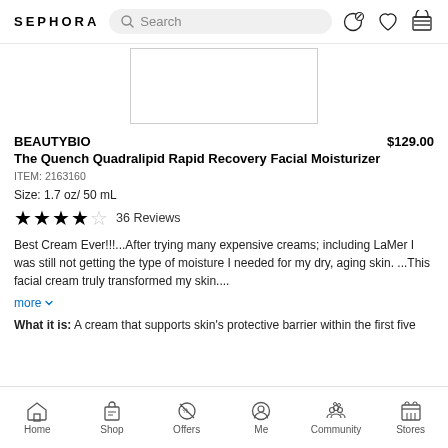SEPHORA
[Figure (photo): Product image placeholder - white box with border]
BEAUTYBIO
The Quench Quadralipid Rapid Recovery Facial Moisturizer
ITEM: 2163160
Size: 1.7 oz/ 50 mL
★★★★☆ 36 Reviews
Best Cream Ever!!!...After trying many expensive creams; including LaMer I was still not getting the type of moisture I needed for my dry, aging skin. ...This facial cream truly transformed my skin....
more
What it is: A cream that supports skin's protective barrier within the first five
Home  Shop  Offers  Me  Community  Stores